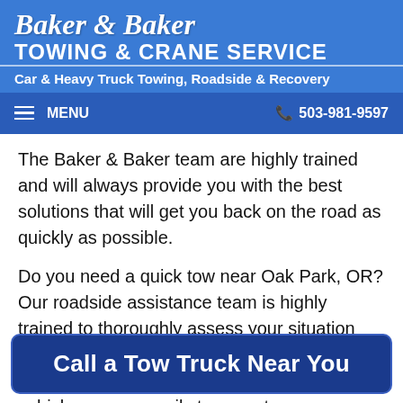Baker & Baker Towing & Crane Service
Car & Heavy Truck Towing, Roadside & Recovery
MENU   503-981-9597
The Baker & Baker team are highly trained and will always provide you with the best solutions that will get you back on the road as quickly as possible.
Do you need a quick tow near Oak Park, OR? Our roadside assistance team is highly trained to thoroughly assess your situation and provide you with the best possible solution. If more work is needed on your vehicle, we can easily tow you to a
Call a Tow Truck Near You